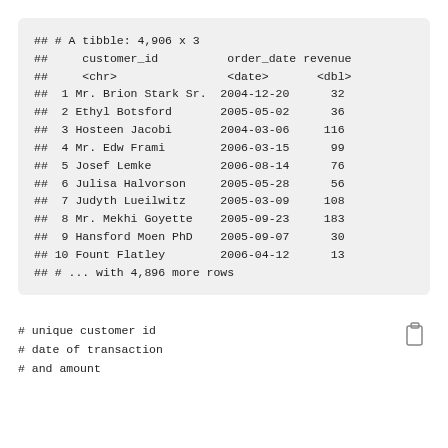| ## | customer_id | order_date | revenue |
| --- | --- | --- | --- |
| ## 1 | Mr. Brion Stark Sr. | 2004-12-20 | 32 |
| ## 2 | Ethyl Botsford | 2005-05-02 | 36 |
| ## 3 | Hosteen Jacobi | 2004-03-06 | 116 |
| ## 4 | Mr. Edw Frami | 2006-03-15 | 99 |
| ## 5 | Josef Lemke | 2006-08-14 | 76 |
| ## 6 | Julisa Halvorson | 2005-05-28 | 56 |
| ## 7 | Judyth Lueilwitz | 2005-03-09 | 108 |
| ## 8 | Mr. Mekhi Goyette | 2005-09-23 | 183 |
| ## 9 | Hansford Moen PhD | 2005-09-07 | 30 |
| ## 10 | Fount Flatley | 2006-04-12 | 13 |
# unique customer id
# date of transaction
# and amount